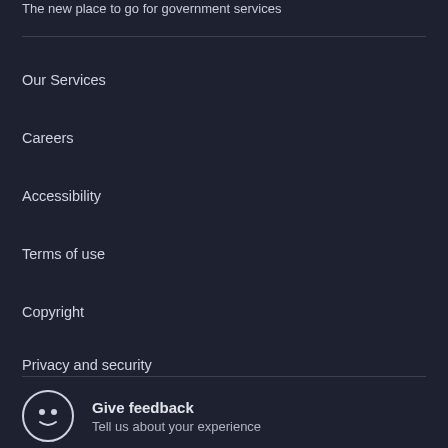The new place to go for government services
Our Services
Careers
Accessibility
Terms of use
Copyright
Privacy and security
Give feedback
Tell us about your experience